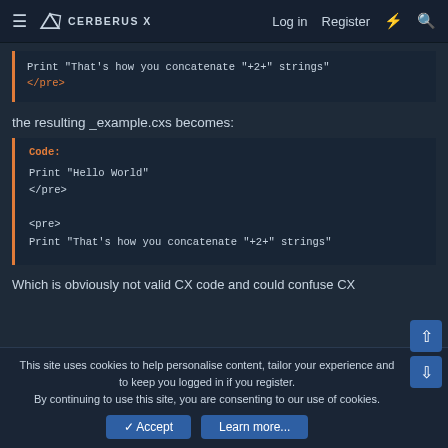CERBERUS X  Log in  Register
[Figure (screenshot): Partial code block showing: Print "That's how you concatenate "+2+" strings" followed by </pre> in orange]
the resulting _example.cxs becomes:
[Figure (screenshot): Code block labeled 'Code:' containing: Print "Hello World" / </pre> / <pre> / Print "That's how you concatenate "+2+" strings"]
Which is obviously not valid CX code and could confuse CX
This site uses cookies to help personalise content, tailor your experience and to keep you logged in if you register.
By continuing to use this site, you are consenting to our use of cookies.